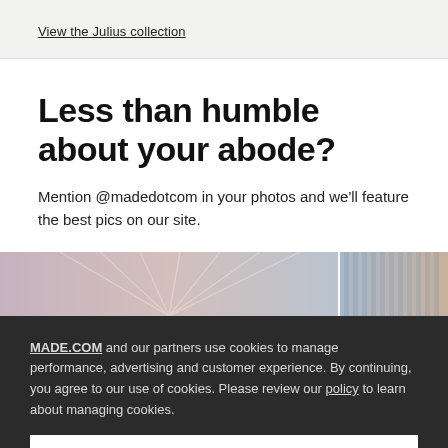View the Julius collection
Less than humble about your abode?
Mention @madedotcom in your photos and we'll feature the best pics on our site.
[Figure (photo): Two abstract interior/textile photos side by side, cropped]
MADE.COM and our partners use cookies to manage performance, advertising and customer experience. By continuing, you agree to our use of cookies. Please review our policy to learn about managing cookies.
ACCEPT